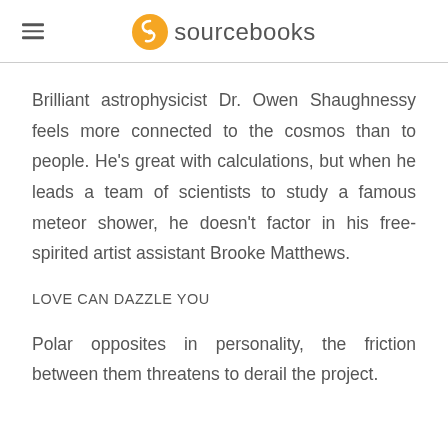sourcebooks
Brilliant astrophysicist Dr. Owen Shaughnessy feels more connected to the cosmos than to people. He's great with calculations, but when he leads a team of scientists to study a famous meteor shower, he doesn't factor in his free-spirited artist assistant Brooke Matthews.
LOVE CAN DAZZLE YOU
Polar opposites in personality, the friction between them threatens to derail the project.